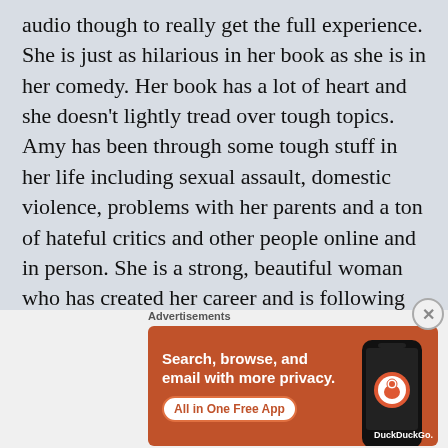audio though to really get the full experience. She is just as hilarious in her book as she is in her comedy. Her book has a lot of heart and she doesn't lightly tread over tough topics. Amy has been through some tough stuff in her life including sexual assault, domestic violence, problems with her parents and a ton of hateful critics and other people online and in person. She is a strong, beautiful woman who has created her career and is following the path she created to success. I hope she
[Figure (infographic): DuckDuckGo advertisement banner with orange background. Text: 'Search, browse, and email with more privacy. All in One Free App' with DuckDuckGo logo and phone image.]